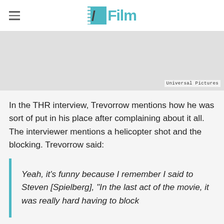/Film
[Figure (photo): Gray image placeholder area with 'Universal Pictures' credit in bottom right corner]
In the THR interview, Trevorrow mentions how he was sort of put in his place after complaining about it all. The interviewer mentions a helicopter shot and the blocking. Trevorrow said:
Yeah, it's funny because I remember I said to Steven [Spielberg], "In the last act of the movie, it was really hard having to block